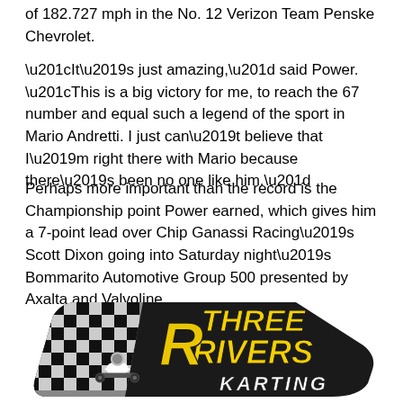of 182.727 mph in the No. 12 Verizon Team Penske Chevrolet.
“It’s just amazing,” said Power. “This is a big victory for me, to reach the 67 number and equal such a legend of the sport in Mario Andretti. I just can’t believe that I’m right there with Mario because there’s been no one like him.”
Perhaps more important than the record is the Championship point Power earned, which gives him a 7-point lead over Chip Ganassi Racing’s Scott Dixon going into Saturday night’s Bommarito Automotive Group 500 presented by Axalta and Valvoline.
[Figure (logo): Three Rivers Karting logo: black shield/swoosh shape with checkered flag pattern on left, yellow bold italic text reading THREE RIVERS in stacked layout, and KARTING in white bold text at bottom, with a kart racer silhouette.]